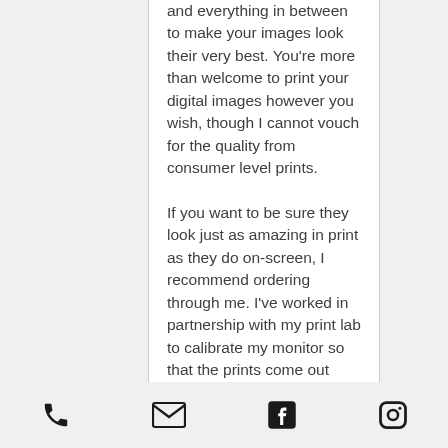and everything in between to make your images look their very best. You're more than welcome to print your digital images however you wish, though I cannot vouch for the quality from consumer level prints.

If you want to be sure they look just as amazing in print as they do on-screen, I recommend ordering through me. I've worked in partnership with my print lab to calibrate my monitor so that the prints come out exactly as you see them digitally.

When you order through me, anything larger than 5x7 is archival quality. That comes with...
phone | email | facebook | instagram